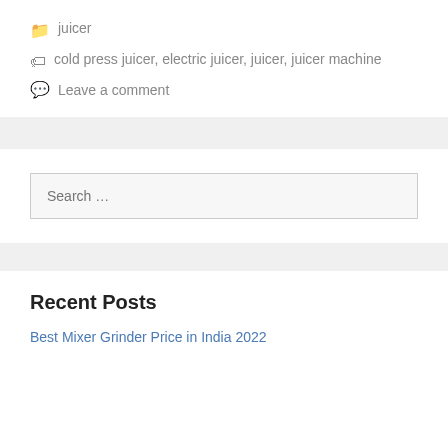📁 juicer
🏷 cold press juicer, electric juicer, juicer, juicer machine
💬 Leave a comment
[Figure (other): Gray horizontal divider bar]
Search …
[Figure (other): Gray horizontal divider bar]
Recent Posts
Best Mixer Grinder Price in India 2022